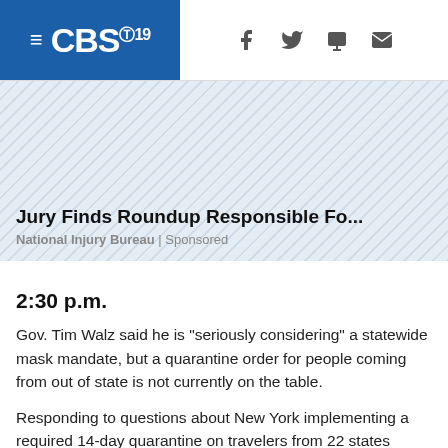CBS 19
[Figure (other): Advertisement area with diagonal striped background showing sponsored content: 'Jury Finds Roundup Responsible Fo...' from National Injury Bureau | Sponsored]
Jury Finds Roundup Responsible Fo... National Injury Bureau | Sponsored
2:30 p.m.
Gov. Tim Walz said he is "seriously considering" a statewide mask mandate, but a quarantine order for people coming from out of state is not currently on the table.
Responding to questions about New York implementing a required 14-day quarantine on travelers from 22 states